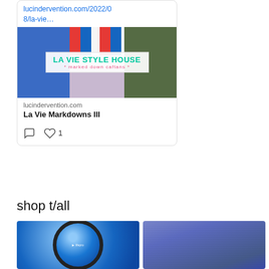lucindervention.com/2022/08/la-vie…
[Figure (photo): La Vie Style House collage image with fashion items and bold text overlay reading 'LA VIE STYLE HOUSE marked down caftans']
lucindervention.com
La Vie Markdowns III
1
shop t/all
[Figure (photo): Blue Lifepro balance ball with black ring base]
[Figure (photo): Person wearing dark denim shirt standing outdoors]